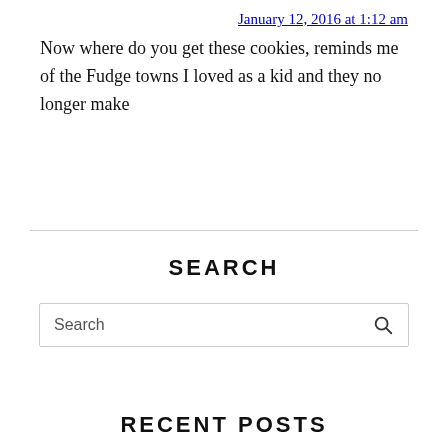Now where do you get these cookies, reminds me of the Fudge towns I loved as a kid and they no longer make
SEARCH
Search
RECENT POSTS